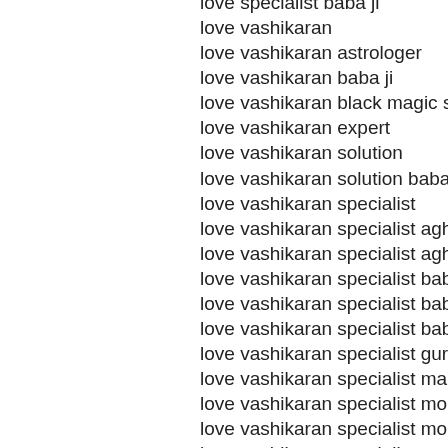love specialist baba ji
love vashikaran
love vashikaran astrologer
love vashikaran baba ji
love vashikaran black magic specialist babaji
love vashikaran expert
love vashikaran solution
love vashikaran solution baba ji
love vashikaran specialist
love vashikaran specialist aghori baba
love vashikaran specialist aghori baba ji
love vashikaran specialist baba
love vashikaran specialist baba ji
love vashikaran specialist baba ji aghori
love vashikaran specialist guru ji
love vashikaran specialist maulana ji
love vashikaran specialist molvi
love vashikaran specialist molvi ji
love vashikaran specialist pandit ji
mantra for love marriage problems
marriage problem solution tantrik
maulana vashikaran